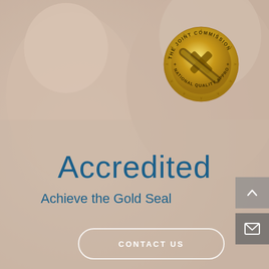[Figure (photo): Background photo of elderly patient with medical professional, muted warm tones]
[Figure (logo): The Joint Commission National Quality Approval gold seal badge]
Accredited
Achieve the Gold Seal
CONTACT US